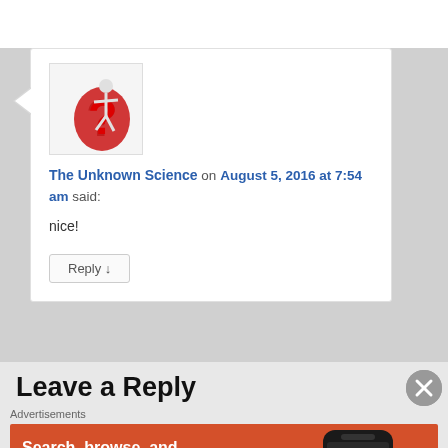[Figure (illustration): Avatar image showing a white 3D figure holding a large red question mark]
The Unknown Science on August 5, 2016 at 7:54 am said:
nice!
Reply ↓
Leave a Reply
Advertisements
[Figure (screenshot): DuckDuckGo advertisement banner: orange background with text 'Search, browse, and email with more privacy. All in One Free App' and a phone showing the DuckDuckGo app]